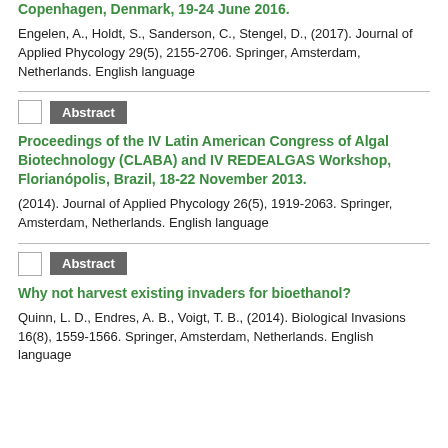Copenhagen, Denmark, 19-24 June 2016.
Engelen, A., Holdt, S., Sanderson, C., Stengel, D., (2017). Journal of Applied Phycology 29(5), 2155-2706. Springer, Amsterdam, Netherlands. English language
Abstract
Proceedings of the IV Latin American Congress of Algal Biotechnology (CLABA) and IV REDEALGAS Workshop, Florianópolis, Brazil, 18-22 November 2013.
(2014). Journal of Applied Phycology 26(5), 1919-2063. Springer, Amsterdam, Netherlands. English language
Abstract
Why not harvest existing invaders for bioethanol?
Quinn, L. D., Endres, A. B., Voigt, T. B., (2014). Biological Invasions 16(8), 1559-1566. Springer, Amsterdam, Netherlands. English language